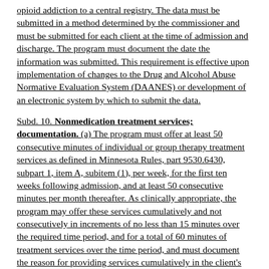opioid addiction to a central registry. The data must be submitted in a method determined by the commissioner and must be submitted for each client at the time of admission and discharge. The program must document the date the information was submitted. This requirement is effective upon implementation of changes to the Drug and Alcohol Abuse Normative Evaluation System (DAANES) or development of an electronic system by which to submit the data.
Subd. 10. Nonmedication treatment services; documentation. (a) The program must offer at least 50 consecutive minutes of individual or group therapy treatment services as defined in Minnesota Rules, part 9530.6430, subpart 1, item A, subitem (1), per week, for the first ten weeks following admission, and at least 50 consecutive minutes per month thereafter. As clinically appropriate, the program may offer these services cumulatively and not consecutively in increments of no less than 15 minutes over the required time period, and for a total of 60 minutes of treatment services over the time period, and must document the reason for providing services cumulatively in the client's